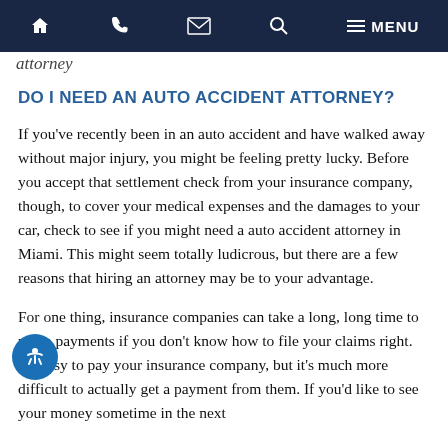attorney
DO I NEED AN AUTO ACCIDENT ATTORNEY?
If you've recently been in an auto accident and have walked away without major injury, you might be feeling pretty lucky. Before you accept that settlement check from your insurance company, though, to cover your medical expenses and the damages to your car, check to see if you might need a auto accident attorney in Miami. This might seem totally ludicrous, but there are a few reasons that hiring an attorney may be to your advantage.
For one thing, insurance companies can take a long, long time to make payments if you don't know how to file your claims right. It's easy to pay your insurance company, but it's much more difficult to actually get a payment from them. If you'd like to see your money sometime in the next